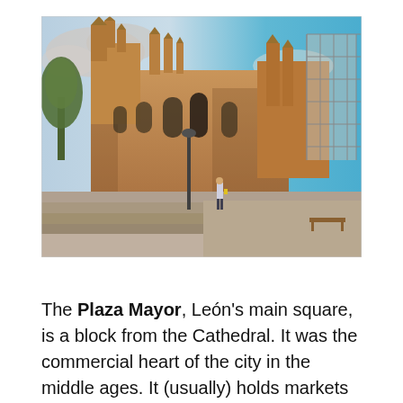[Figure (photo): A large Gothic cathedral made of tan/reddish stone with ornate spires and buttresses. Scaffolding is visible on the right side. A person walks on stone steps in the foreground; trees and a blue sky with clouds are in the background.]
The Plaza Mayor, León's main square, is a block from the Cathedral. It was the commercial heart of the city in the middle ages. It (usually) holds markets on Wednesdays and Saturdays. During...